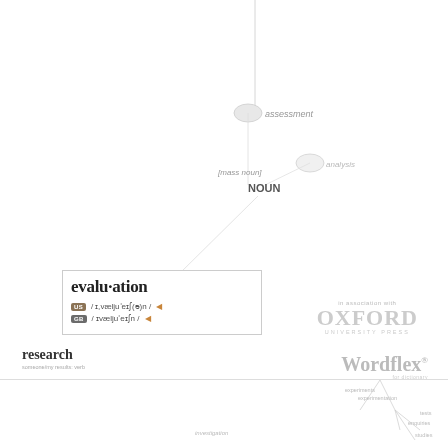[Figure (network-graph): A word network graph showing 'evaluation' as the main node connected to 'NOUN' hub, which connects to 'assessment' (top), '[mass noun]' label, and 'analysis' node. Lines radiate from NOUN center.]
evalu·ation
US / ɪˌvæljuˈeɪʃ(ə)n / GB / ɪvæljuˈeɪʃn /
in association with OXFORD UNIVERSITY PRESS
research
Wordflex
experiments experimentation tests enquiries studies
investigation